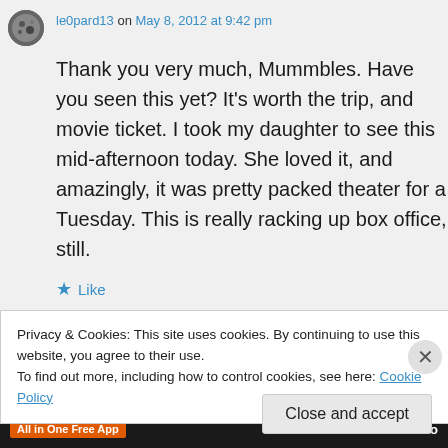le0pard13 on May 8, 2012 at 9:42 pm
Thank you very much, Mummbles. Have you seen this yet? It’s worth the trip, and movie ticket. I took my daughter to see this mid-afternoon today. She loved it, and amazingly, it was pretty packed theater for a Tuesday. This is really racking up box office, still.
★ Like
Privacy & Cookies: This site uses cookies. By continuing to use this website, you agree to their use.
To find out more, including how to control cookies, see here: Cookie Policy
Close and accept